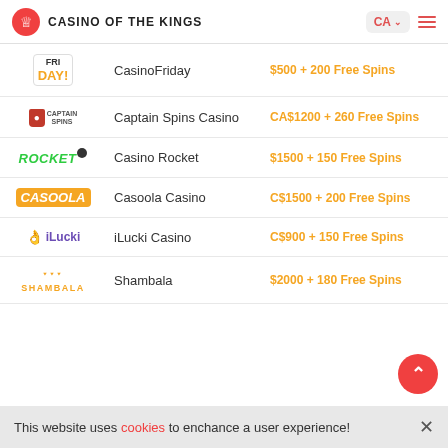CASINO OF THE KINGS
| Logo | Name | Bonus |
| --- | --- | --- |
| CasinoFriday logo | CasinoFriday | $500 + 200 Free Spins |
| Captain Spins logo | Captain Spins Casino | CA$1200 + 260 Free Spins |
| Casino Rocket logo | Casino Rocket | $1500 + 150 Free Spins |
| Casoola logo | Casoola Casino | C$1500 + 200 Free Spins |
| iLucki logo | iLucki Casino | C$900 + 150 Free Spins |
| Shambala logo | Shambala | $2000 + 180 Free Spins |
This website uses cookies to enchance a user experience!